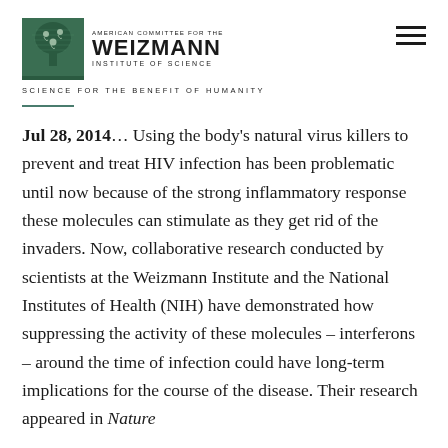[Figure (logo): American Committee for the Weizmann Institute of Science logo with tree emblem]
SCIENCE FOR THE BENEFIT OF HUMANITY
Jul 28, 2014… Using the body's natural virus killers to prevent and treat HIV infection has been problematic until now because of the strong inflammatory response these molecules can stimulate as they get rid of the invaders. Now, collaborative research conducted by scientists at the Weizmann Institute and the National Institutes of Health (NIH) have demonstrated how suppressing the activity of these molecules – interferons – around the time of infection could have long-term implications for the course of the disease. Their research appeared in Nature